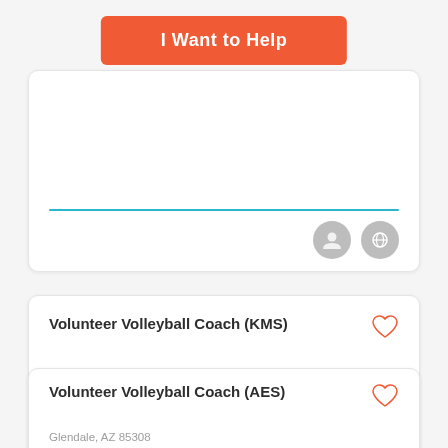[Figure (screenshot): Orange button labeled 'I Want to Help']
[Figure (screenshot): Card with title 'Volunteer Volleyball Coach (KMS)', location 'Tempe, AZ 85284', scheduling text, divider line, and two icon circles]
[Figure (screenshot): Partial card with title 'Volunteer Volleyball Coach (AES)', partial location 'Glendale, AZ 85308']